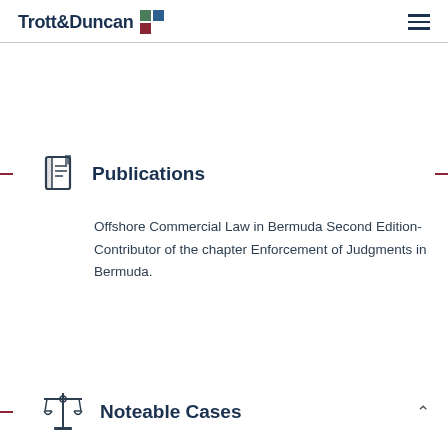Trott & Duncan
Publications
Offshore Commercial Law in Bermuda Second Edition- Contributor of the chapter Enforcement of Judgments in Bermuda.
Noteable Cases